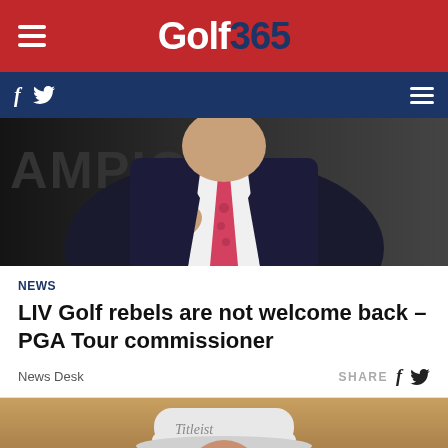Golf365
[Figure (photo): Man in dark suit with pink tie gesturing, partial 'CHAMPION' text visible in background]
NEWS
LIV Golf rebels are not welcome back – PGA Tour commissioner
News Desk
SHARE
[Figure (photo): Golfer wearing white Titleist cap, partial view, warm sandy/earth tone background]